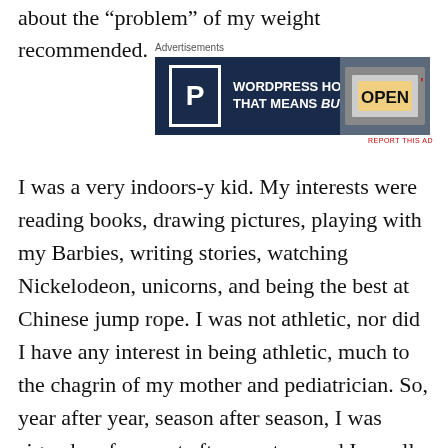about the “problem” of my weight recommended.
[Figure (screenshot): Advertisement banner for WordPress Hosting: white P in a box on dark navy background with text 'WORDPRESS HOSTING THAT MEANS BUSINESS.' and an OPEN sign image on the right]
REPORT THIS AD
I was a very indoors-y kid. My interests were reading books, drawing pictures, playing with my Barbies, writing stories, watching Nickelodeon, unicorns, and being the best at Chinese jump rope. I was not athletic, nor did I have any interest in being athletic, much to the chagrin of my mother and pediatrician. So, year after year, season after season, I was signed up for sport after sport … and I usually asked to drop out before the season was over. (Which should not have been a surprise to anyone — I hadn’t wanted to participate in the first place.)